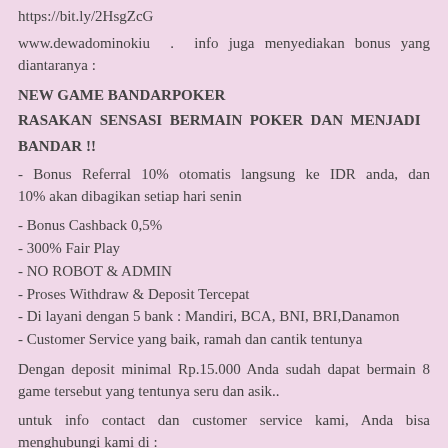https://bit.ly/2HsgZcG
www.dewadominokiu . info juga menyediakan bonus yang diantaranya :
NEW GAME BANDARPOKER
RASAKAN SENSASI BERMAIN POKER DAN MENJADI BANDAR !!
- Bonus Referral 10% otomatis langsung ke IDR anda, dan 10% akan dibagikan setiap hari senin
- Bonus Cashback 0,5%
- 300% Fair Play
- NO ROBOT & ADMIN
- Proses Withdraw & Deposit Tercepat
- Di layani dengan 5 bank : Mandiri, BCA, BNI, BRI,Danamon
- Customer Service yang baik, ramah dan cantik tentunya
Dengan deposit minimal Rp.15.000 Anda sudah dapat bermain 8 game tersebut yang tentunya seru dan asik..
untuk info contact dan customer service kami, Anda bisa menghubungi kami di :